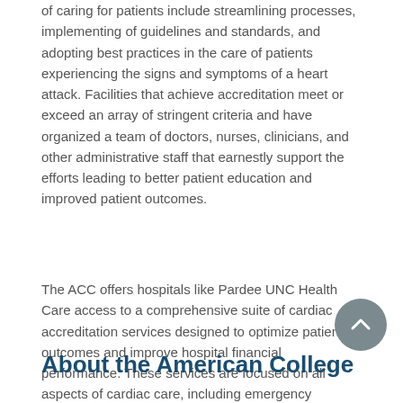of caring for patients include streamlining processes, implementing of guidelines and standards, and adopting best practices in the care of patients experiencing the signs and symptoms of a heart attack. Facilities that achieve accreditation meet or exceed an array of stringent criteria and have organized a team of doctors, nurses, clinicians, and other administrative staff that earnestly support the efforts leading to better patient education and improved patient outcomes.
The ACC offers hospitals like Pardee UNC Health Care access to a comprehensive suite of cardiac accreditation services designed to optimize patient outcomes and improve hospital financial performance. These services are focused on all aspects of cardiac care, including emergency treatment of heart attacks.
About the American College